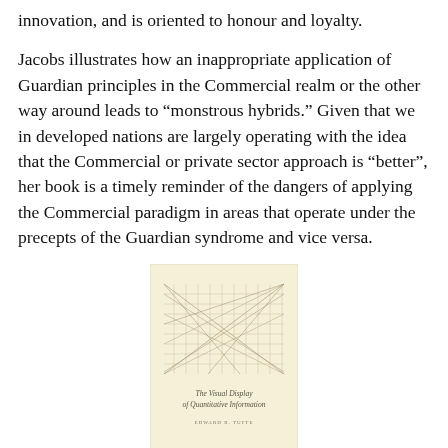innovation, and is oriented to honour and loyalty.
Jacobs illustrates how an inappropriate application of Guardian principles in the Commercial realm or the other way around leads to “monstrous hybrids.” Given that we in developed nations are largely operating with the idea that the Commercial or private sector approach is “better”, her book is a timely reminder of the dangers of applying the Commercial paradigm in areas that operate under the precepts of the Guardian syndrome and vice versa.
[Figure (illustration): Book cover of 'The Visual Display of Quantitative Information' by Edward R. Tufte. Cream/beige colored cover with a geometric line drawing showing intersecting diagonal lines and grid patterns in the upper portion, and the title text below.]